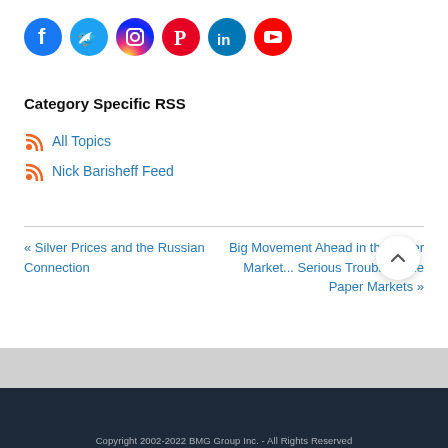[Figure (illustration): Row of social media icons: Facebook, Twitter, Instagram, Pinterest, LinkedIn, YouTube]
Category Specific RSS
All Topics
Nick Barisheff Feed
« Silver Prices and the Russian Connection
Big Movement Ahead in the Silver Market... Serious Trouble in the Paper Markets »
Copyright 2002-2022 BMG Group Inc. - All Rights Reserved